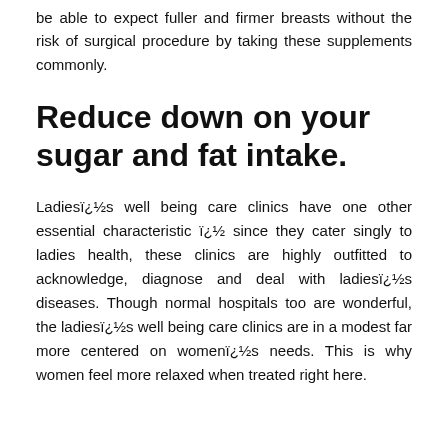be able to expect fuller and firmer breasts without the risk of surgical procedure by taking these supplements commonly.
Reduce down on your sugar and fat intake.
Ladiesï¿½s well being care clinics have one other essential characteristic ï¿½ since they cater singly to ladies health, these clinics are highly outfitted to acknowledge, diagnose and deal with ladiesï¿½s diseases. Though normal hospitals too are wonderful, the ladiesï¿½s well being care clinics are in a modest far more centered on womenï¿½s needs. This is why women feel more relaxed when treated right here.